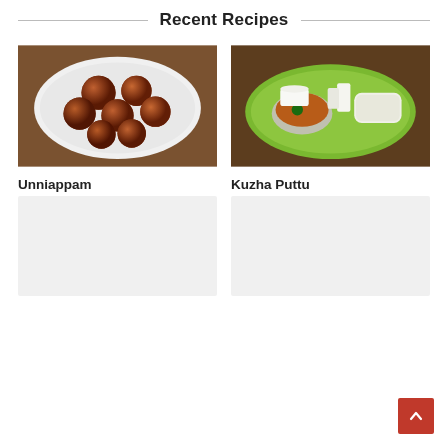Recent Recipes
[Figure (photo): Unniappam - round fried sweet dumplings on a white plate]
Unniappam
[Figure (photo): Kuzha Puttu - cylindrical rice cake served on a banana leaf with curry and coconut]
Kuzha Puttu
[Figure (photo): Placeholder food image (loading)]
[Figure (photo): Placeholder food image (loading)]